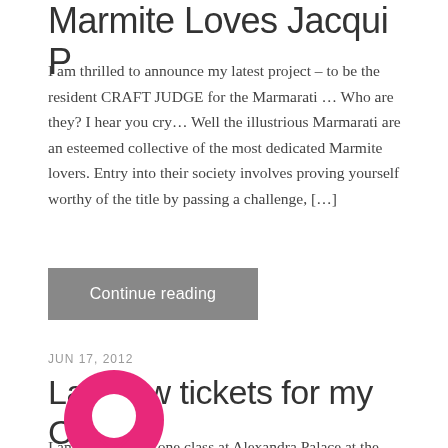Marmite Loves Jacqui P
I am thrilled to announce my latest project – to be the resident CRAFT JUDGE for the Marmarati … Who are they?  I hear you cry… Well the illustrious Marmarati are an esteemed collective of the most dedicated Marmite lovers.  Entry into their society involves proving yourself worthy of the title by passing a challenge, […]
Continue reading
JUN 17, 2012
Last few tickets for my Class
I am teaching one class at Alexandra Palace at the Knitting and Stitching Show in October.. and there are only a few tickets left.. Why not pop along and stitch a mini project from my new book Supersize Stitches on the day of its release. All materials included.. and I will be on hand to [...]